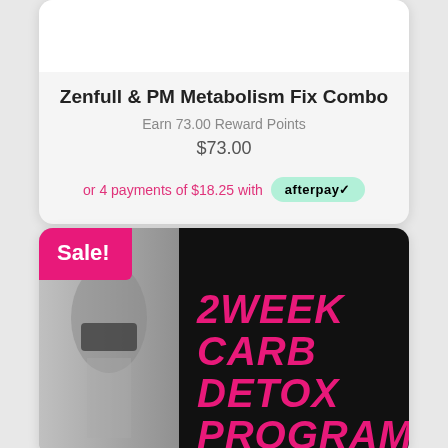[Figure (photo): Top product card with white image area at top, showing product listing for Zenfull & PM Metabolism Fix Combo]
Zenfull & PM Metabolism Fix Combo
Earn 73.00 Reward Points
$73.00
or 4 payments of $18.25 with afterpay
[Figure (photo): Bottom product card showing 2 Week Carb Detox Program with Sale badge, black and white torso photo on left and dark background with pink text on right]
Sale!
2WEEK CARB DETOX PROGRAM